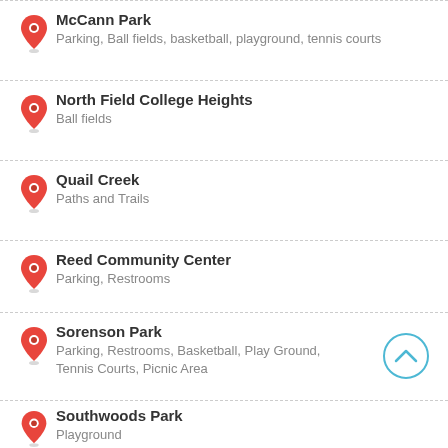McCann Park
Parking, Ball fields, basketball, playground, tennis courts
North Field College Heights
Ball fields
Quail Creek
Paths and Trails
Reed Community Center
Parking, Restrooms
Sorenson Park
Parking, Restrooms, Basketball, Play Ground, Tennis Courts, Picnic Area
Southwoods Park
Playground